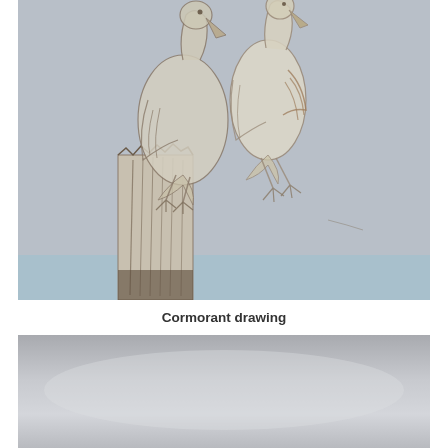[Figure (illustration): A pencil sketch drawing of two cormorants perched on a post or wooden structure. The birds are drawn with light pencil strokes showing their characteristic long necks and body shapes. One bird has its wings slightly spread. The wooden post below has vertical line shading.]
Cormorant drawing
[Figure (photo): A photograph showing a grey/overcast sky or misty background, appearing mostly grey with slightly lighter tones in the middle. The image is partially cropped at the bottom of the page.]